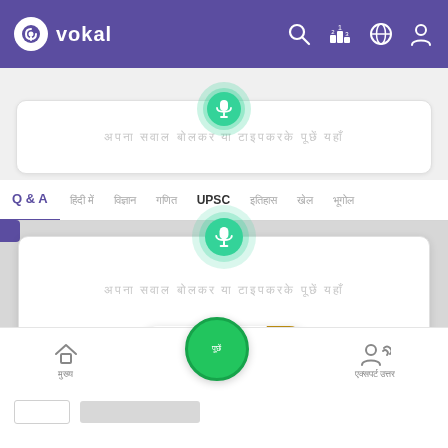[Figure (screenshot): Vokal app screenshot showing header with logo and icons, search bar with microphone, navigation tabs including Q&A and UPSC, an overlay panel with a second microphone search bar, an 'open in app' button, and a bottom navigation bar]
vokal
Q & A
UPSC
open in app
×